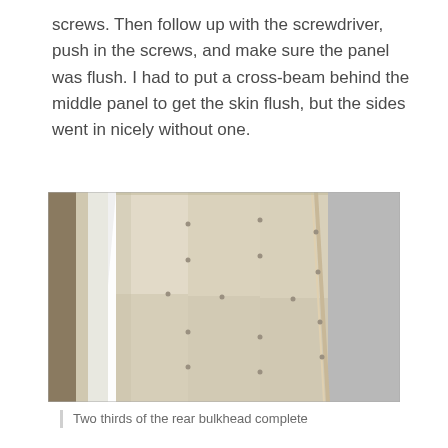screws. Then follow up with the screwdriver, push in the screws, and make sure the panel was flush. I had to put a cross-beam behind the middle panel to get the skin flush, but the sides went in nicely without one.
[Figure (photo): Photograph of wooden wall panels (bulkhead skin) installed, showing a light-colored plywood surface with visible panel seams and screws, taken from a low angle inside what appears to be an aircraft or similar structure. A bright light source is visible on the left side.]
Two thirds of the rear bulkhead complete